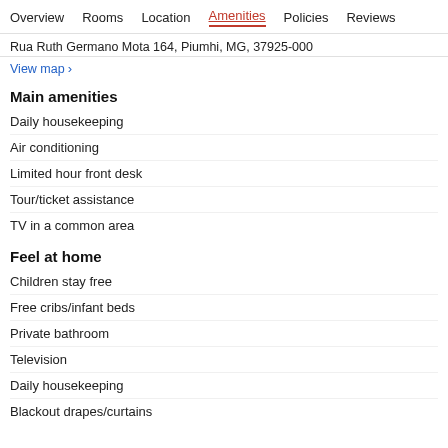Overview  Rooms  Location  Amenities  Policies  Reviews
Rua Ruth Germano Mota 164, Piumhi, MG, 37925-000
View map >
Main amenities
Daily housekeeping
Air conditioning
Limited hour front desk
Tour/ticket assistance
TV in a common area
Feel at home
Children stay free
Free cribs/infant beds
Private bathroom
Television
Daily housekeeping
Blackout drapes/curtains